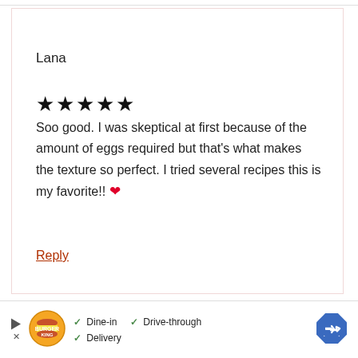Lana
★★★★★
Soo good. I was skeptical at first because of the amount of eggs required but that's what makes the texture so perfect. I tried several recipes this is my favorite!! ❤
Reply
[Figure (infographic): Burger King advertisement banner showing logo, Dine-in, Drive-through, Delivery checkmarks, and directions icon]